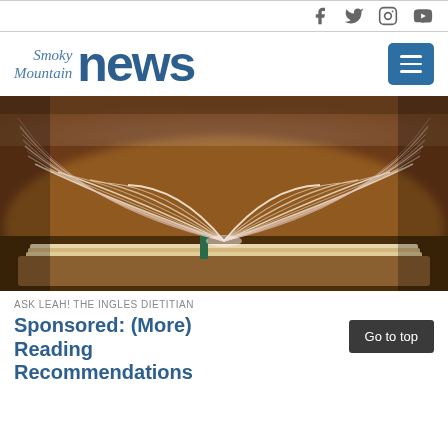Social media icons: Facebook, Twitter, Instagram, YouTube
[Figure (logo): Smoky Mountain News logo with social menu button]
[Figure (photo): Close-up photo of an open book with pages fanned out, warm bokeh background]
ASK LEAH! THE INGLES DIETITIAN
Sponsored: (More) Reading Recommendations
Go to top